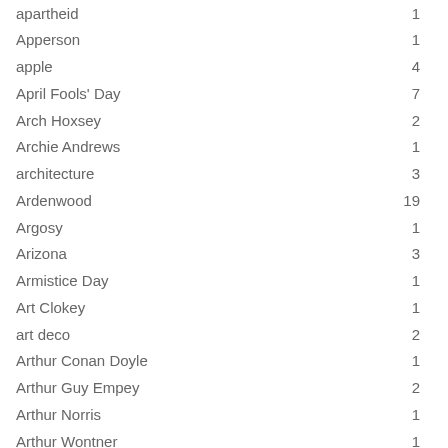| Term | Count |
| --- | --- |
| apartheid | 1 |
| Apperson | 1 |
| apple | 4 |
| April Fools' Day | 7 |
| Arch Hoxsey | 2 |
| Archie Andrews | 1 |
| architecture | 3 |
| Ardenwood | 19 |
| Argosy | 1 |
| Arizona | 3 |
| Armistice Day | 1 |
| Art Clokey | 1 |
| art deco | 2 |
| Arthur Conan Doyle | 1 |
| Arthur Guy Empey | 2 |
| Arthur Norris | 1 |
| Arthur Wontner | 1 |
| Ash Wednesday | 4 |
| Auburn | 4 |